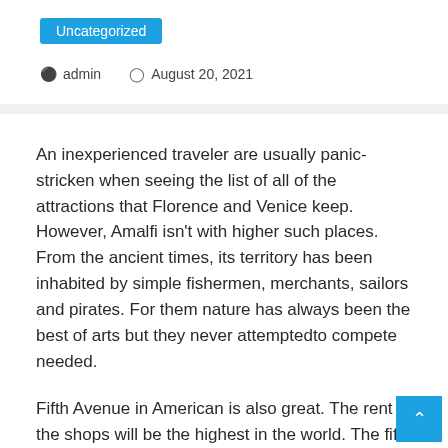Uncategorized
admin   August 20, 2021
An inexperienced traveler are usually panic-stricken when seeing the list of all of the attractions that Florence and Venice keep. However, Amalfi isn't with higher such places. From the ancient times, its territory has been inhabited by simple fishermen, merchants, sailors and pirates. For them nature has always been the best of arts but they never attemptedto compete needed.
Fifth Avenue in American is also great. The rent in the shops will be the highest in the world. The fifth Avenue could be the most famous shopping street